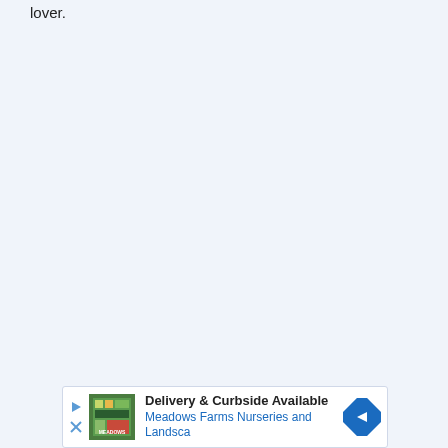lover.
[Figure (other): Advertisement banner for Meadows Farms Nurseries and Landscaping showing delivery and curbside pickup service with logo, play button, close button, and navigation arrow icon]